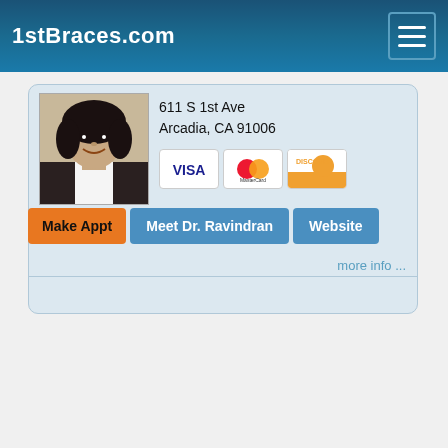1stBraces.com
[Figure (photo): Profile photo of Dr. Ravindran]
611 S 1st Ave
Arcadia, CA 91006
[Figure (other): Payment card icons: VISA, MasterCard, Discover]
Make Appt
Meet Dr. Ravindran
Website
more info ...